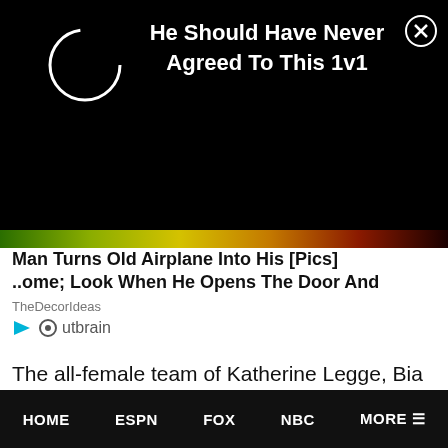[Figure (screenshot): Black ad overlay with spinner circle and close button. Text reads: He Should Have Never Agreed To This 1v1]
Man Turns Old Airplane Into His [Pics] ..ome; Look When He Opens The Door And
TheDecorIdeas
[Figure (logo): Outbrain logo with play icon]
The all-female team of Katherine Legge, Bia Figueiredo (formerly Ana Beatriz), Simona De Silvestro and Christina Nielsen were up in the top five at various points throughout the race but some late race trouble put them 13th in class, 11 laps behind the class winner.
HOME   ESPN   FOX   NBC   MORE